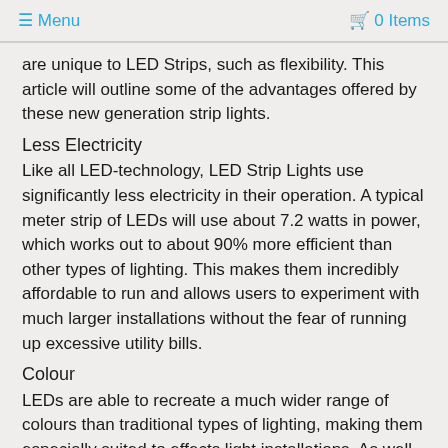☰ Menu   🛒 0 Items
are unique to LED Strips, such as flexibility. This article will outline some of the advantages offered by these new generation strip lights.
Less Electricity
Like all LED-technology, LED Strip Lights use significantly less electricity in their operation. A typical meter strip of LEDs will use about 7.2 watts in power, which works out to about 90% more efficient than other types of lighting. This makes them incredibly affordable to run and allows users to experiment with much larger installations without the fear of running up excessive utility bills.
Colour
LEDs are able to recreate a much wider range of colours than traditional types of lighting, making them especially suited to effects light installations. As well as the standard warm white and cool white, which are used for ambience